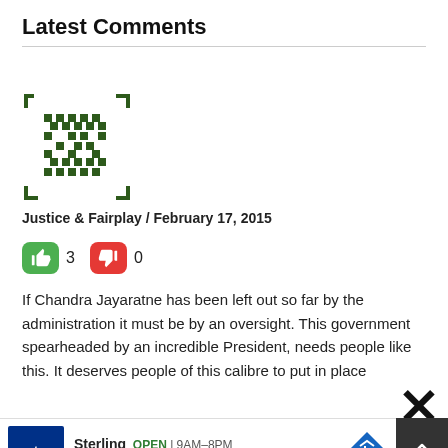Latest Comments
[Figure (other): QR code style avatar/identicon — green pixel pattern on white background]
Justice & Fairplay / February 17, 2015
👍 3  👎 0
If Chandra Jayaratne has been left out so far by the administration it must be by an oversight. This government spearheaded by an incredible President, needs people like this. It deserves people of this calibre to put in place
[Figure (other): Large X close button overlay]
[Figure (other): Petco advertisement banner: Sterling OPEN 9AM-8PM, 22000 Dulles Retail Plaza, #110, Ste]
[Figure (other): Scroll-up arrow button (dark gray square with double up arrows)]